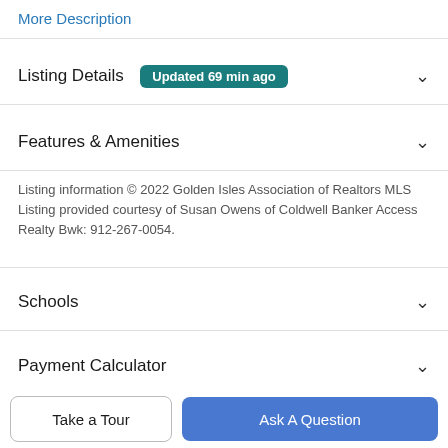More Description
Listing Details  Updated 69 min ago
Features & Amenities
Listing information © 2022 Golden Isles Association of Realtors MLS Listing provided courtesy of Susan Owens of Coldwell Banker Access Realty Bwk: 912-267-0054.
Schools
Payment Calculator
Contact Agent
Take a Tour
Ask A Question